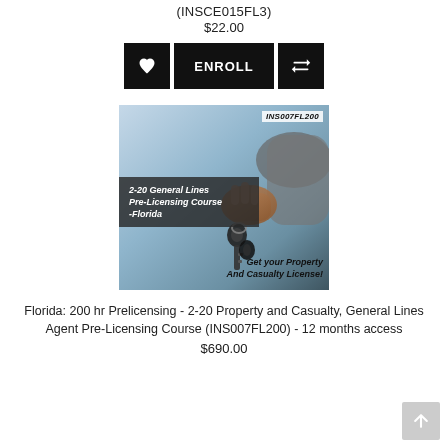(INSCE015FL3)
$22.00
[Figure (screenshot): Three buttons: heart/favorite icon, ENROLL button, and compare icon, all black background]
[Figure (photo): Course thumbnail image showing a hand holding car keys with text overlay: INS007FL200, 2-20 General Lines Pre-Licensing Course -Florida, Get your Property And Casualty License!]
Florida: 200 hr Prelicensing - 2-20 Property and Casualty, General Lines Agent Pre-Licensing Course (INS007FL200) - 12 months access
$690.00